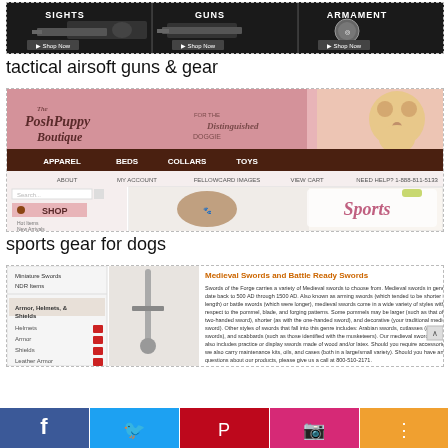[Figure (screenshot): Airsoft guns & gear website screenshot showing three category panels: Sights, Guns, Armament each with Shop Now buttons]
tactical airsoft guns & gear
[Figure (screenshot): The Posh Puppy Boutique website screenshot showing dog apparel store with navigation: Apparel, Beds, Collars, Toys and Sports Apparel section]
sports gear for dogs
[Figure (screenshot): Medieval Swords and Battle Ready Swords website screenshot showing sword categories and product description text]
[Figure (screenshot): Social media share bar at bottom with Facebook, Twitter, Pinterest, Instagram, and Share icons]